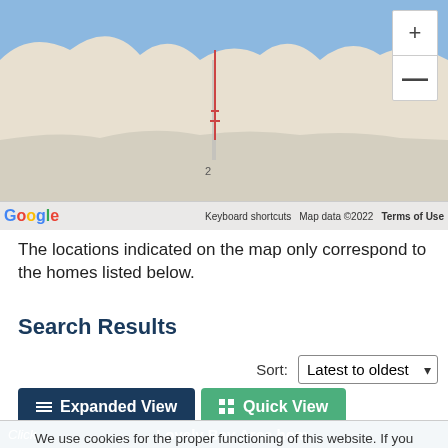[Figure (map): Google Maps view showing a coastal area with water and land. Zoom in/out controls visible in top right. Google logo and map attribution at bottom.]
The locations indicated on the map only correspond to the homes listed below.
Search Results
Sort: Latest to oldest
Expanded View  Quick View
We use cookies for the proper functioning of this website. If you continue to use this site we will assume that you are consenting to this.
Lovely Bay Area home... hour ferry ride to S... ID:#8193